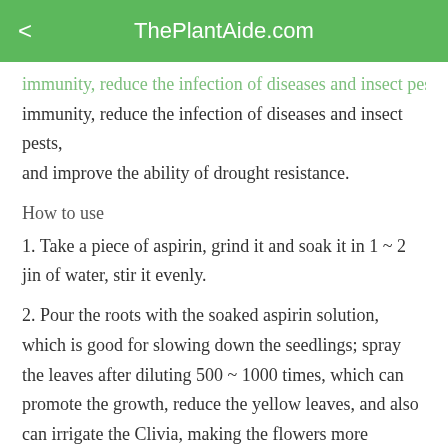ThePlantAide.com
immunity, reduce the infection of diseases and insect pests, and improve the ability of drought resistance.
How to use
1. Take a piece of aspirin, grind it and soak it in 1 ~ 2 jin of water, stir it evenly.
2. Pour the roots with the soaked aspirin solution, which is good for slowing down the seedlings; spray the leaves after diluting 500 ~ 1000 times, which can promote the growth, reduce the yellow leaves, and also can irrigate the Clivia, making the flowers more colorful.